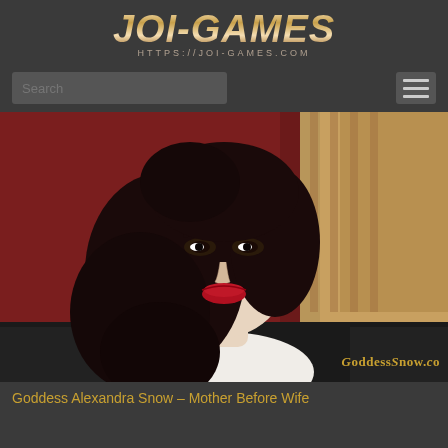JOI-GAMES
HTTPS://JOI-GAMES.COM
[Figure (screenshot): Website screenshot showing search bar and hamburger menu navigation]
[Figure (photo): Woman with long dark hair, red lipstick, wearing white top, seated, with GoddesSnow.com watermark in lower right]
Goddess Alexandra Snow – Mother Before Wife